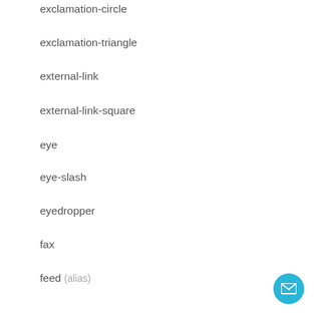exclamation-circle
exclamation-triangle
external-link
external-link-square
eye
eye-slash
eyedropper
fax
feed (alias)
female
fighter-jet
file-archive-o
file-audio-o
file-code-o
file-excel-o
file-image-o